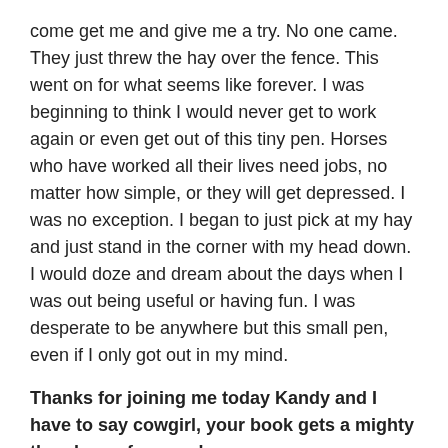come get me and give me a try. No one came. They just threw the hay over the fence. This went on for what seems like forever. I was beginning to think I would never get to work again or even get out of this tiny pen. Horses who have worked all their lives need jobs, no matter how simple, or they will get depressed. I was no exception. I began to just pick at my hay and just stand in the corner with my head down. I would doze and dream about the days when I was out being useful or having fun. I was desperate to be anywhere but this small pen, even if I only got out in my mind.
Thanks for joining me today Kandy and I have to say cowgirl, your book gets a mighty thumbs up from me!
Share this: